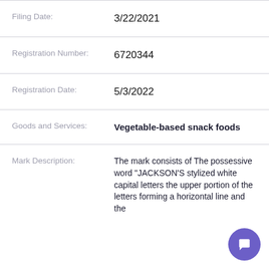Filing Date: 3/22/2021
Registration Number: 6720344
Registration Date: 5/3/2022
Goods and Services: Vegetable-based snack foods
Mark Description: The mark consists of The possessive word "JACKSON'S stylized white capital letters the upper portion of the letters forming a horizontal line and the